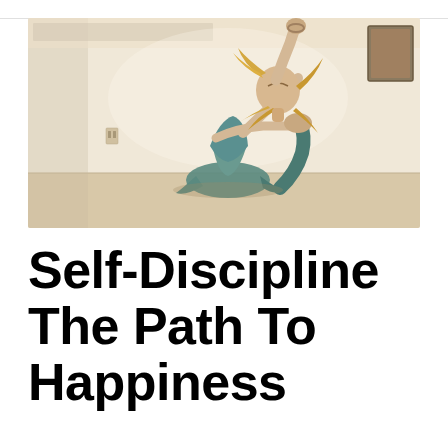[Figure (photo): A woman in a teal/green athletic outfit performing a yoga pose (bow-like backbend) on a light wooden floor in a bright white room. Her long blonde hair flows as she arches back, holding her foot up behind her with one hand raised.]
Self-Discipline The Path To Happiness